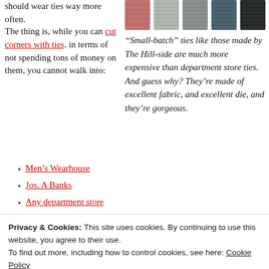should wear ties way more often.
[Figure (photo): Five fabric swatches in a row: pink/rose, light grey striped, medium grey striped, dark teal, and dark charcoal/black]
“Small-batch” ties like those made by The Hill-side are much more expensive than department store ties. And guess why? They’re made of excellent fabric, and excellent die, and they’re gorgeous.
The thing is, while you can cut corners with ties, in terms of not spending tons of money on them, you cannot walk into:
Men’s Wearhouse
Jos. A Banks
Any department store
Privacy & Cookies: This site uses cookies. By continuing to use this website, you agree to their use.
To find out more, including how to control cookies, see here: Cookie Policy
Close and accept